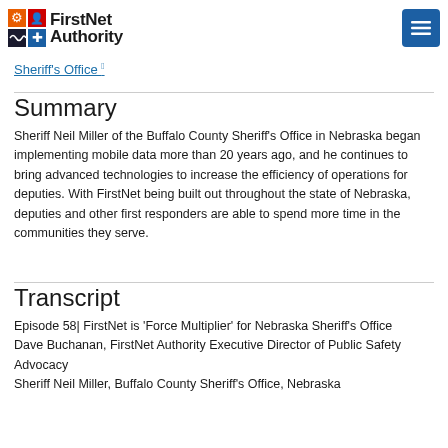FirstNet Authority
Sheriff's Office
Summary
Sheriff Neil Miller of the Buffalo County Sheriff's Office in Nebraska began implementing mobile data more than 20 years ago, and he continues to bring advanced technologies to increase the efficiency of operations for deputies. With FirstNet being built out throughout the state of Nebraska, deputies and other first responders are able to spend more time in the communities they serve.
Transcript
Episode 58| FirstNet is 'Force Multiplier' for Nebraska Sheriff's Office Dave Buchanan, FirstNet Authority Executive Director of Public Safety Advocacy Sheriff Neil Miller, Buffalo County Sheriff's Office, Nebraska